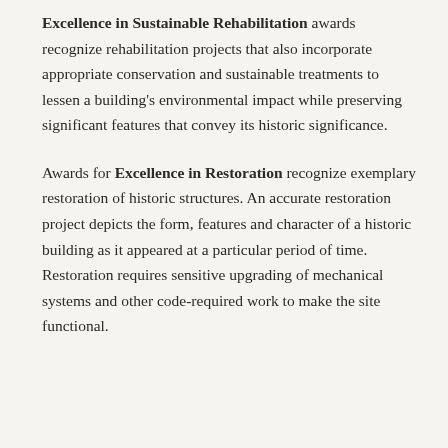Excellence in Sustainable Rehabilitation awards recognize rehabilitation projects that also incorporate appropriate conservation and sustainable treatments to lessen a building's environmental impact while preserving significant features that convey its historic significance.
Awards for Excellence in Restoration recognize exemplary restoration of historic structures. An accurate restoration project depicts the form, features and character of a historic building as it appeared at a particular period of time. Restoration requires sensitive upgrading of mechanical systems and other code-required work to make the site functional.